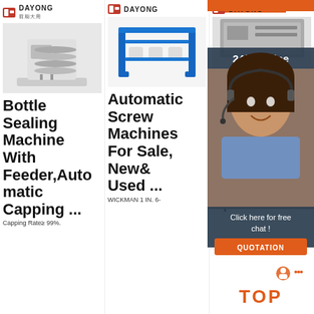[Figure (photo): Dayong brand logo and bottle sealing machine product image]
Bottle Sealing Machine With Feeder,Automatic Capping ...
Capping Rate≥ 99%.
[Figure (photo): Dayong brand logo and automatic screw machine product image (blue frame)]
Automatic Screw Machines For Sale, New& Used ...
WICKMAN 1 IN. 6-
[Figure (photo): Dayong brand logo and third machine product image partially covered by chat overlay]
Automatic Bar Loaders, Bar Feeders,- Multi Spindle
[Figure (infographic): 24/7 Online customer service panel with agent photo, Click here for free chat text, and QUOTATION button. TOP badge with gear icon.]